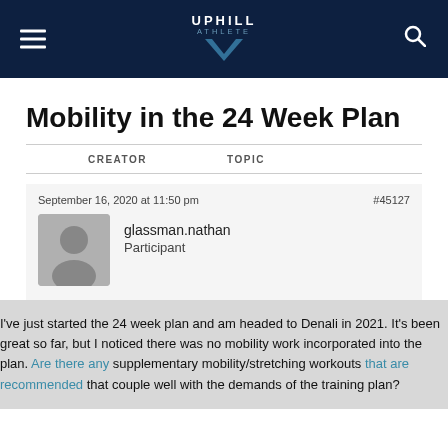UPHILL ATHLETE
Mobility in the 24 Week Plan
| CREATOR | TOPIC |
| --- | --- |
September 16, 2020 at 11:50 pm  #45127
glassman.nathan
Participant
I've just started the 24 week plan and am headed to Denali in 2021. It's been great so far, but I noticed there was no mobility work incorporated into the plan. Are there any supplementary mobility/stretching workouts that are recommended that couple well with the demands of the training plan?